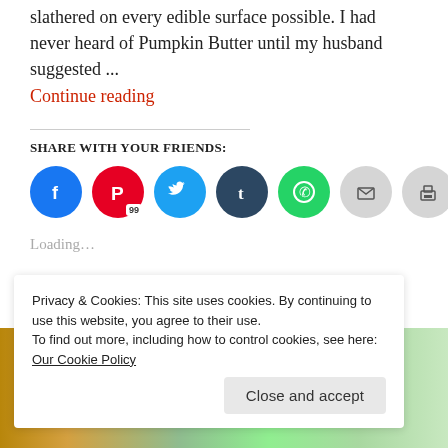slathered on every edible surface possible. I had never heard of Pumpkin Butter until my husband suggested ...
Continue reading
SHARE WITH YOUR FRIENDS:
[Figure (other): Row of social media sharing icon buttons: Facebook (blue), Pinterest (red, badge 99), Twitter (light blue), Tumblr (dark blue), WhatsApp (green), Email (grey), Print (grey), LinkedIn (blue)]
Loading...
[Figure (photo): Food image strip showing colorful food items at bottom of page]
Privacy & Cookies: This site uses cookies. By continuing to use this website, you agree to their use.
To find out more, including how to control cookies, see here: Our Cookie Policy
Close and accept